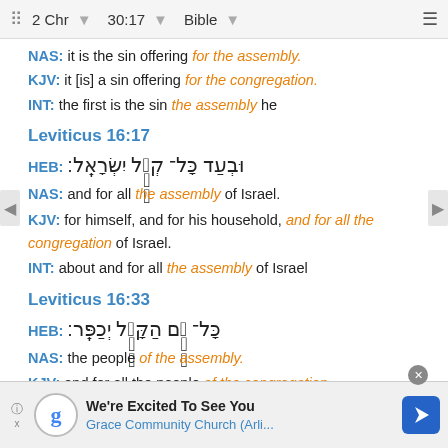2 Chr  30:17  Bible
NAS: it is the sin offering for the assembly.
KJV: it [is] a sin offering for the congregation.
INT: the first is the sin the assembly he
Leviticus 16:17
HEB: וּבְעַד כָּל־ קְהַ֥ל יִשְׂרָאֵֽל׃
NAS: and for all the assembly of Israel.
KJV: for himself, and for his household, and for all the congregation of Israel.
INT: about and for all the assembly of Israel
Leviticus 16:33
HEB: כָּל־ עַ֥ם הַקָּהָ֖ל יְכַפֵּֽר׃
NAS: the people of the assembly.
KJV: and for all the people of the congregation.
INT: and for all the people of the assembly shall make